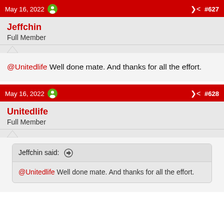May 16, 2022  #627
Jeffchin
Full Member
@Unitedlife Well done mate. And thanks for all the effort.
May 16, 2022  #628
Unitedlife
Full Member
Jeffchin said: ↑ @Unitedlife Well done mate. And thanks for all the effort.